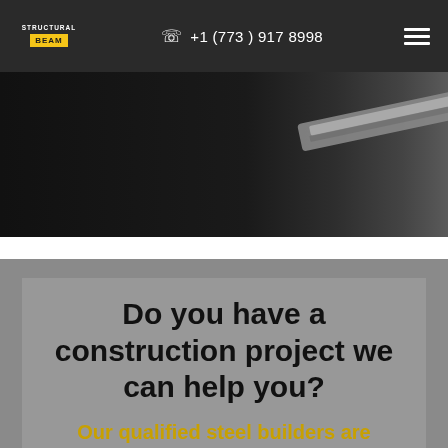STRUCTURAL BEAM | +1 (773) 917 8998
[Figure (photo): Dark background hero image with a metallic steel beam or rod visible in the upper right area against a black/dark background]
Do you have a construction project we can help you?
Our qualified steel builders are